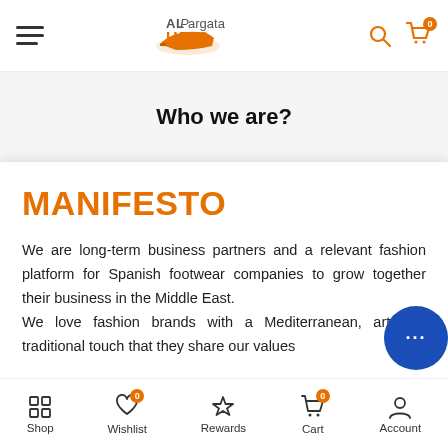ALPargata URIS - navigation header with hamburger menu, logo, search and cart icons
Who we are?
MANIFESTO
We are long-term business partners and a relevant fashion platform for Spanish footwear companies to grow together their business in the Middle East. We love fashion brands with a Mediterranean, art and traditional touch that they share our values
Shop | Wishlist (0) | Rewards | Cart (0) | Account